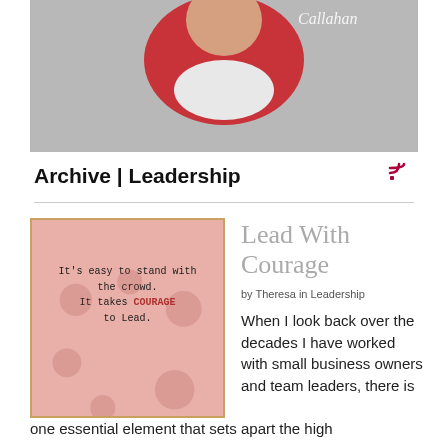[Figure (photo): Portrait photo of a woman in a red jacket, with cursive 'Callahan' text in upper right corner, gray background]
Archive | Leadership
[Figure (illustration): Pink quote card with decorative rose pattern background. Text reads: It's easy to stand with the crowd. It takes COURAGE to Lead. www.ManagingForPerformance.com. 'COURAGE' is in red/bold.]
Lead With Courage
by Theresa in Leadership
When I look back over the decades I have worked with small business owners and team leaders, there is one essential element that sets apart the high